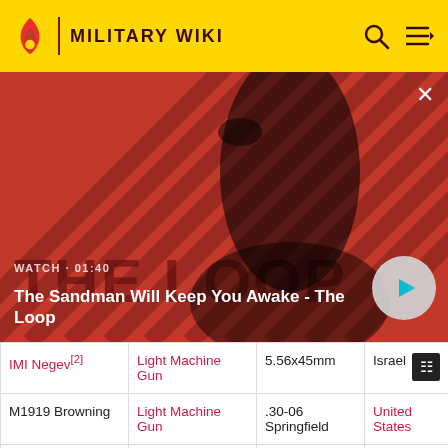MILITARY WIKI
[Figure (photo): Promotional image for 'The Sandman Will Keep You Awake - The Loop' video. A pale dark-haired man in a black coat with a black bird on his shoulder, against a red and black diagonal striped background. Play button overlay.]
WATCH · 01:40
The Sandman Will Keep You Awake - The Loop
| Name | Type | Cartridge | Country |
| --- | --- | --- | --- |
| IMI Negev[2] | Light Machine Gun | 5.56x45mm | Israel |
| M1919 Browning | Light Machine Gun | .30-06 Springfield | United States |
| FN MAG[9] | General | 7.62x51mm |  |